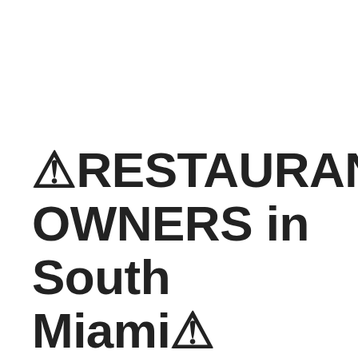⚠RESTAURANT OWNERS in South Miami⚠